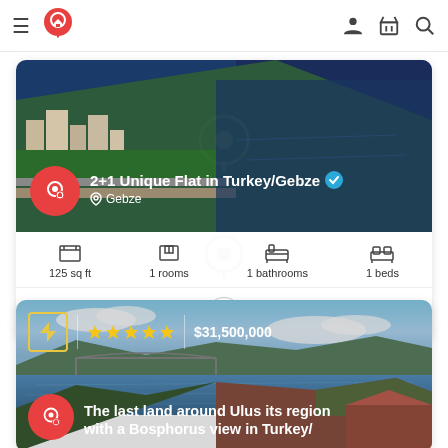[Figure (screenshot): Mobile app navbar with hamburger menu, real estate logo, user icon, basket icon, and search icon]
[Figure (photo): Aerial view of a coastal Turkish city with buildings, trees, and sea]
2+1 Unique Flat in Turkey/Gebze
Gebze
125 sq ft   1 rooms   1 bathrooms   1 beds
[Figure (photo): Panoramic view of the Bosphorus strait in Turkey with bridge and hills]
$31,500,000
The last land around Ulus its region with a Bosphorus view in Turkey/